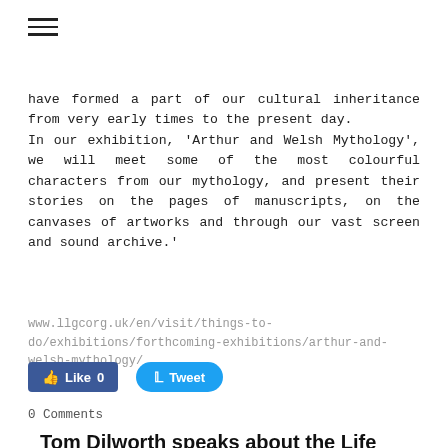have formed a part of our cultural inheritance from very early times to the present day.
In our exhibition, 'Arthur and Welsh Mythology', we will meet some of the most colourful characters from our mythology, and present their stories on the pages of manuscripts, on the canvases of artworks and through our vast screen and sound archive.'
www.llgcorg.uk/en/visit/things-to-do/exhibitions/forthcoming-exhibitions/arthur-and-welsh-mythology/
[Figure (other): Facebook Like button showing count 0 and Twitter Tweet button]
0 Comments
Tom Dilworth speaks about the Life